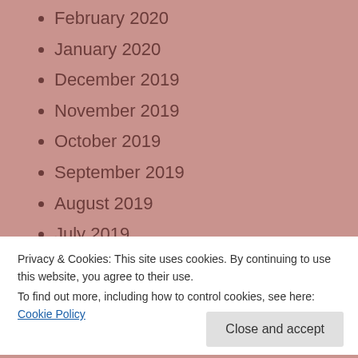February 2020
January 2020
December 2019
November 2019
October 2019
September 2019
August 2019
July 2019
June 2019
May 2019
April 2019
Privacy & Cookies: This site uses cookies. By continuing to use this website, you agree to their use.
To find out more, including how to control cookies, see here: Cookie Policy
September 2018